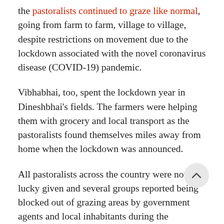the pastoralists continued to graze like normal, going from farm to farm, village to village, despite restrictions on movement due to the lockdown associated with the novel coronavirus disease (COVID-19) pandemic.
Vibhabhai, too, spent the lockdown year in Dineshbhai's fields. The farmers were helping them with grocery and local transport as the pastoralists found themselves miles away from home when the lockdown was announced.
All pastoralists across the country were not as lucky given and several groups reported being blocked out of grazing areas by government agents and local inhabitants during the pandemic.
Dineshbhai described their relationship with